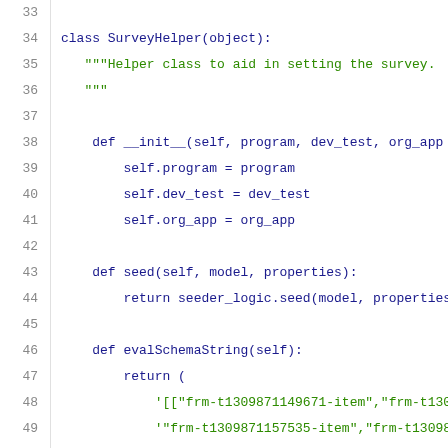Code listing showing Python class SurveyHelper, lines 33-54
[Figure (screenshot): Python source code showing class SurveyHelper with __init__, seed, and evalSchemaString methods, lines 33-54]